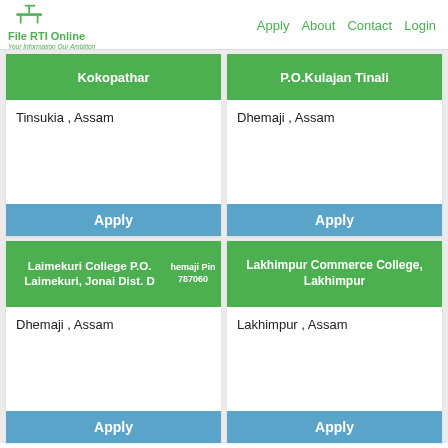File RTI Online — Apply About Contact Login
Kokopathar
Tinsukia , Assam
Apply
P.O.Kulajan Tinali
Dhemaji , Assam
Apply
Laimekuri College P.O. Laimekuri, Jonai Dist. Dhemaji Pin 787060
Dhemaji , Assam
Apply
Lakhimpur Commerce College, Lakhimpur
Lakhimpur , Assam
Apply